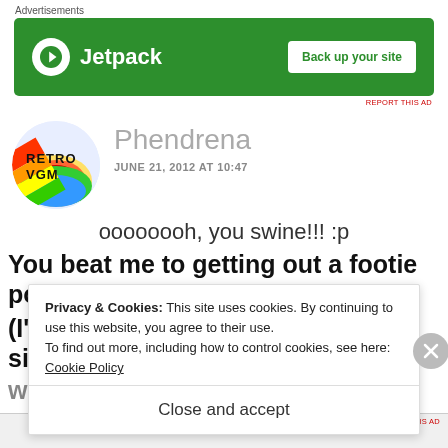Advertisements
[Figure (screenshot): Jetpack advertisement banner with green background, Jetpack logo and 'Back up your site' button]
[Figure (photo): Retro VGM circular avatar logo with rainbow colors]
Phendrena
JUNE 21, 2012 AT 10:47
oooooooh, you swine!!! :p
You beat me to getting out a footie post out!!
(I've been doing mine on and off since late last
Privacy & Cookies: This site uses cookies. By continuing to use this website, you agree to their use.
To find out more, including how to control cookies, see here: Cookie Policy
Close and accept